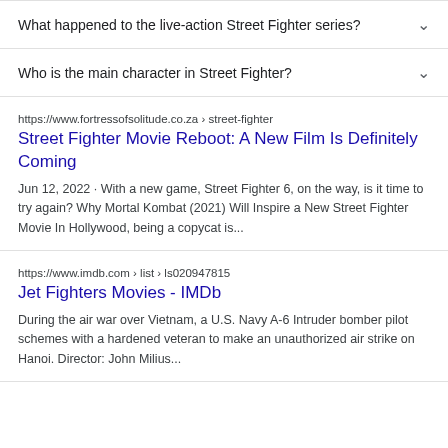What happened to the live-action Street Fighter series?
Who is the main character in Street Fighter?
https://www.fortressofsolitude.co.za › street-fighter
Street Fighter Movie Reboot: A New Film Is Definitely Coming
Jun 12, 2022 · With a new game, Street Fighter 6, on the way, is it time to try again? Why Mortal Kombat (2021) Will Inspire a New Street Fighter Movie In Hollywood, being a copycat is...
https://www.imdb.com › list › ls020947815
Jet Fighters Movies - IMDb
During the air war over Vietnam, a U.S. Navy A-6 Intruder bomber pilot schemes with a hardened veteran to make an unauthorized air strike on Hanoi. Director: John Milius...